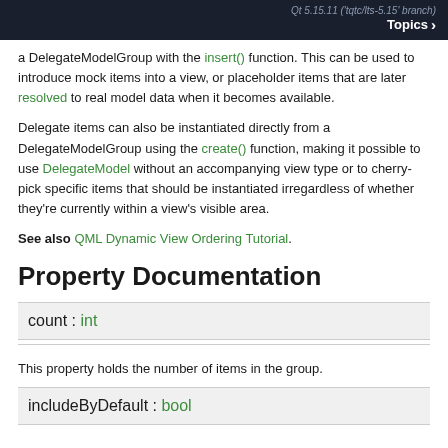Qt 5.15.11 ('tqtc/lts-5.15' branch)  Topics >
a DelegateModelGroup with the insert() function. This can be used to introduce mock items into a view, or placeholder items that are later resolved to real model data when it becomes available.
Delegate items can also be instantiated directly from a DelegateModelGroup using the create() function, making it possible to use DelegateModel without an accompanying view type or to cherry-pick specific items that should be instantiated irregardless of whether they're currently within a view's visible area.
See also QML Dynamic View Ordering Tutorial.
Property Documentation
count : int
This property holds the number of items in the group.
includeByDefault : bool